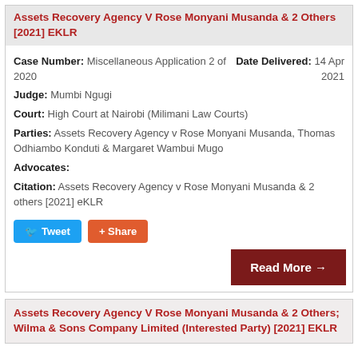Assets Recovery Agency V Rose Monyani Musanda & 2 Others [2021] EKLR
Case Number: Miscellaneous Application 2 of 2020
Date Delivered: 14 Apr 2021
Judge: Mumbi Ngugi
Court: High Court at Nairobi (Milimani Law Courts)
Parties: Assets Recovery Agency v Rose Monyani Musanda, Thomas Odhiambo Konduti & Margaret Wambui Mugo
Advocates:
Citation: Assets Recovery Agency v Rose Monyani Musanda & 2 others [2021] eKLR
Assets Recovery Agency V Rose Monyani Musanda & 2 Others; Wilma & Sons Company Limited (Interested Party) [2021] EKLR